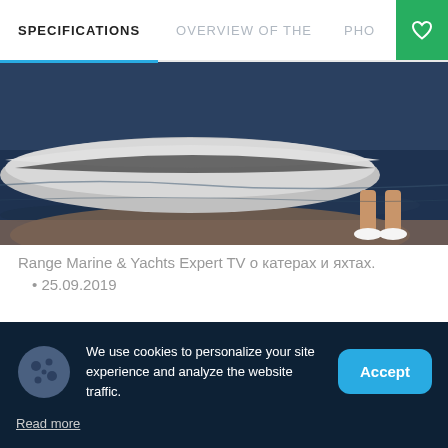SPECIFICATIONS   OVERVIEW OF THE   PHO
[Figure (photo): Photo of a boat hull near water with a person's legs standing on a rock]
Range Marine & Yachts Expert TV о катерах и яхтах.
25.09.2019
Write to us if you want to add to the description.
We use cookies to personalize your site experience and analyze the website traffic.
Read more